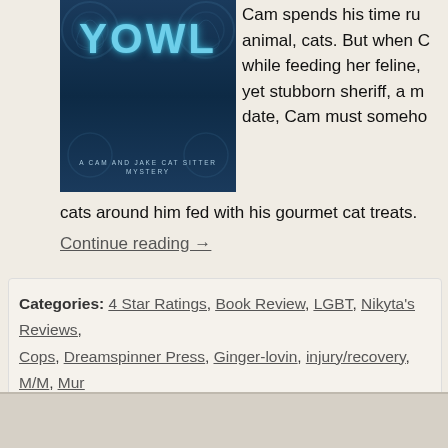[Figure (illustration): Book cover for 'YOWL: A Cam and Jake Cat Sitter Mystery' with blue/teal color scheme and decorative swirl design]
Cam spends his time run... animal, cats. But when C... while feeding her feline,... yet stubborn sheriff, a m... date, Cam must someho... cats around him fed with his gourmet cat treats.
Continue reading →
Categories: 4 Star Ratings, Book Review, LGBT, Nikyta's Reviews, Cops, Dreamspinner Press, Ginger-lovin, injury/recovery, M/M, Mur... Dressler, The Blogger Girls, working together | Leave a comment
← OLDER POSTS